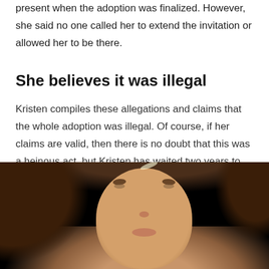present when the adoption was finalized. However, she said no one called her to extend the invitation or allowed her to be there.
She believes it was illegal
Kristen compiles these allegations and claims that the whole adoption was illegal. Of course, if her claims are valid, then there is no doubt that this was a heinous act, but Kristen has waited two years to make these allegations.
[Figure (photo): Portrait photo of a young woman with brown hair against a dark/black background, face partially visible from the mid-forehead down]